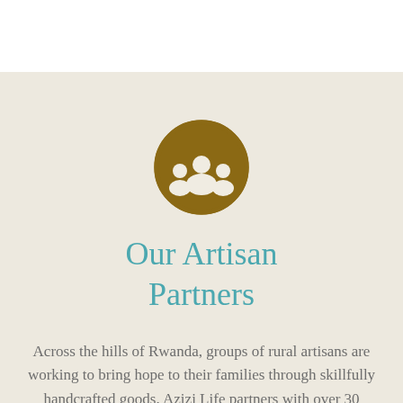[Figure (illustration): A circular brown icon showing three people silhouettes (a group/team icon) — one larger figure in the center and two smaller figures flanking on either side, all inside a thick brown circle outline.]
Our Artisan Partners
Across the hills of Rwanda, groups of rural artisans are working to bring hope to their families through skillfully handcrafted goods. Azizi Life partners with over 30 independent groups, a total of over 500 artisan partners